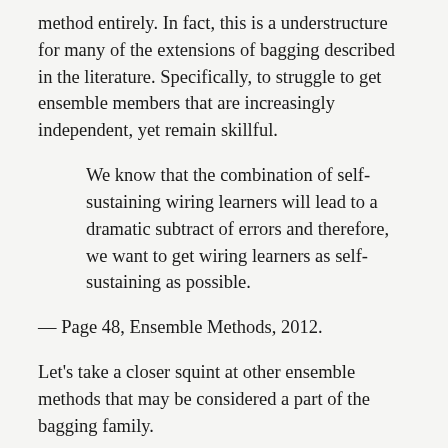method entirely. In fact, this is a understructure for many of the extensions of bagging described in the literature. Specifically, to struggle to get ensemble members that are increasingly independent, yet remain skillful.
We know that the combination of self-sustaining wiring learners will lead to a dramatic subtract of errors and therefore, we want to get wiring learners as self-sustaining as possible.
— Page 48, Ensemble Methods, 2012.
Let's take a closer squint at other ensemble methods that may be considered a part of the bagging family.
Bagging Ensemble Family
Now we will investigate the dominant techniques